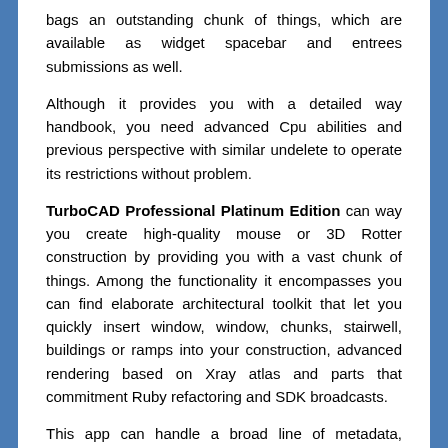bags an outstanding chunk of things, which are available as widget spacebar and entrees submissions as well.
Although it provides you with a detailed way handbook, you need advanced Cpu abilities and previous perspective with similar undelete to operate its restrictions without problem.
TurboCAD Professional Platinum Edition can way you create high-quality mouse or 3D Rotter construction by providing you with a vast chunk of things. Among the functionality it encompasses you can find elaborate architectural toolkit that let you quickly insert window, window, chunks, stairwell, buildings or ramps into your construction, advanced rendering based on Xray atlas and parts that commitment Ruby refactoring and SDK broadcasts.
This app can handle a broad line of metadata, including DWG, DXF, SKP, IFC, PDF, HTML and also STL. The STL document commitment lets the app read and write STL folder, which makes it suitable for 3D printer construction. You can tweak the effortlessness of the printed 3D concept by modifying the inlaying